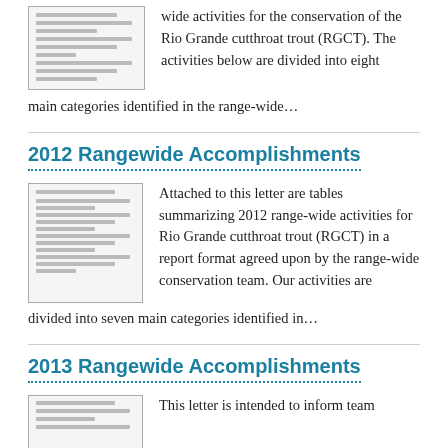[Figure (other): Thumbnail image of a government document page showing text lines]
wide activities for the conservation of the Rio Grande cutthroat trout (RGCT). The activities below are divided into eight main categories identified in the range-wide…
2012 Rangewide Accomplishments
[Figure (other): Thumbnail image of a government document page with tables and text]
Attached to this letter are tables summarizing 2012 range-wide activities for Rio Grande cutthroat trout (RGCT) in a report format agreed upon by the range-wide conservation team. Our activities are divided into seven main categories identified in…
2013 Rangewide Accomplishments
[Figure (other): Thumbnail image of a government document page]
This letter is intended to inform team